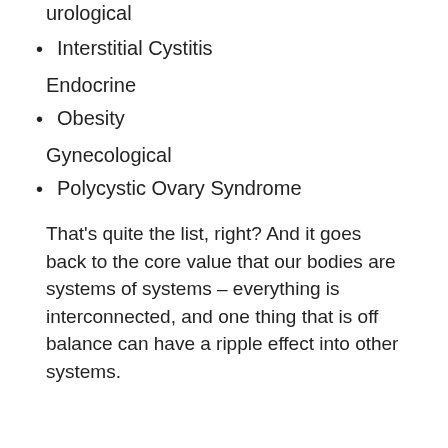urological
Interstitial Cystitis
Endocrine
Obesity
Gynecological
Polycystic Ovary Syndrome
That's quite the list, right? And it goes back to the core value that our bodies are systems of systems – everything is interconnected, and one thing that is off balance can have a ripple effect into other systems.